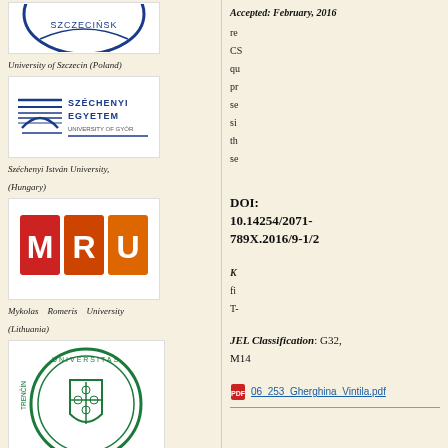[Figure (logo): University of Szczecin logo (partial, top of page)]
University of Szczecin (Poland)
[Figure (logo): Széchenyi István University logo with horizontal lines and text SZÉCHENYI EGYETEM UNIVERSITY OF GYŐR]
Széchenyi István University, (Hungary)
[Figure (logo): Mykolas Romeris University logo - MRU in colored block letters]
Mykolas Romeris University (Lithuania)
[Figure (logo): Alexander Dubcek University of Trencin logo - circular crest with green shield and botanical design]
Alexander Dubcek University of Trencin (Slovak Republic)
Membership:
Accepted: February, 2016
CS qu pr se si th se
DOI: 10.14254/2071-789X.2016/9-1/2
JEL Classification: G32, M14
K fi T-
06_253_Gherghina_Vintila.pdf